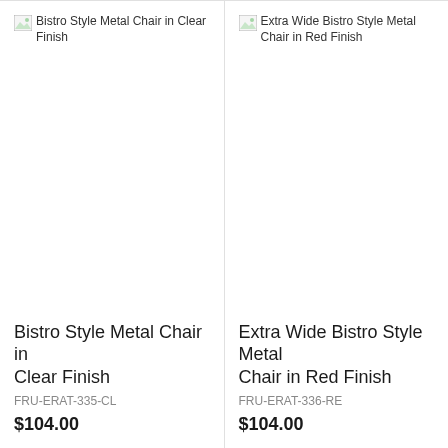[Figure (photo): Broken image placeholder for Bistro Style Metal Chair in Clear Finish]
Bistro Style Metal Chair in Clear Finish
FRU-ERAT-335-CL
$104.00
[Figure (photo): Broken image placeholder for Extra Wide Bistro Style Metal Chair in Red Finish]
Extra Wide Bistro Style Metal Chair in Red Finish
FRU-ERAT-336-RE
$104.00